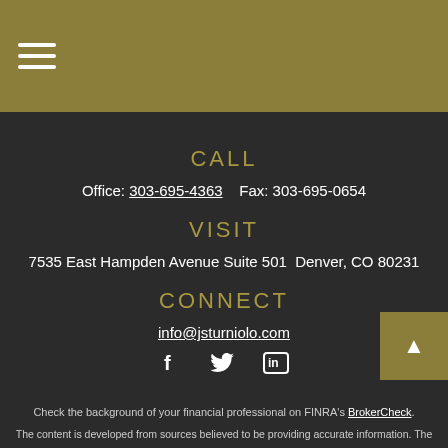Navigation menu header bar with hamburger icon
CALL
Office: 303-695-4363    Fax: 303-695-0654
VISIT
7535 East Hampden Avenue Suite 501  Denver, CO 80231
CONNECT
info@jsturniolo.com
[Figure (infographic): Social media icons: Facebook (f), Twitter (bird), LinkedIn (in)]
Check the background of your financial professional on FINRA's BrokerCheck.
The content is developed from sources believed to be providing accurate information. The